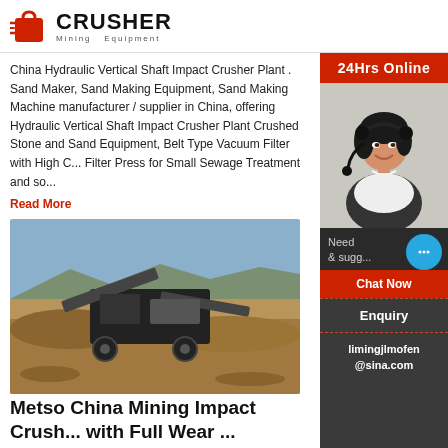CRUSHER Mining Equipment
China Hydraulic Vertical Shaft Impact Crusher Plant . Sand Maker, Sand Making Equipment, Sand Making Machine manufacturer / supplier in China, offering Hydraulic Vertical Shaft Impact Crusher Plant Crushed Stone and Sand Equipment, Belt Type Vacuum Filter with High C... Filter Press for Small Sewage Treatment and so...
Read More
[Figure (photo): Mining impact crusher machine operating outdoors at a quarry site with rocky terrain and sky in background]
Metso China Mining Impact Crush... with Full Wear ...
Metso China Mining Impact Crusher PF-1315 w... . China Mining Impact Crusher PF-1315 with Fu...